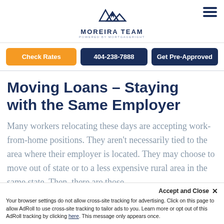MOREIRA TEAM POWERED BY MORTGAGERIGHT
[Figure (logo): Moreira Team logo with mountain/house icon and text 'MOREIRA TEAM POWERED BY MORTGAGERIGHT']
Check Rates | 404-238-7888 | Get Pre-Approved
Moving Loans – Staying with the Same Employer
Many workers relocating these days are accepting work-from-home positions. They aren't necessarily tied to the area where their employer is located. They may choose to move out of state or to a less expensive rural area in the same state. Then, there are those
Accept and Close ✕
Your browser settings do not allow cross-site tracking for advertising. Click on this page to allow AdRoll to use cross-site tracking to tailor ads to you. Learn more or opt out of this AdRoll tracking by clicking here. This message only appears once.